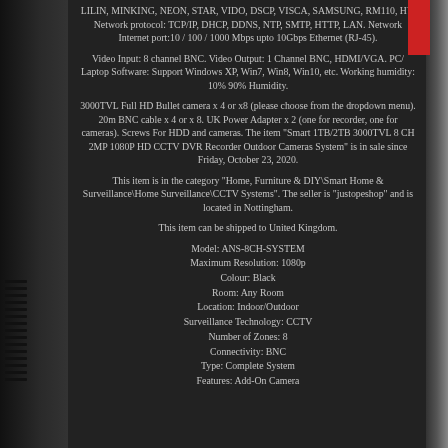LILIN, MINKING, NEON, STAR, VIDO, DSCP, VISCA, SAMSUNG, RM110, HY. Network protocol: TCP/IP, DHCP, DDNS, NTP, SMTP, HTTP, LAN. Network Internet port:10 / 100 / 1000 Mbps upto 10Gbps Ethernet (RJ-45).
Video Input: 8 channel BNC. Video Output: 1 Channel BNC, HDMI/VGA. PC/ Laptop Software: Support Windows XP, Win7, Win8, Win10, etc. Working humidity: 10% 90% Humidity.
3000TVL Full HD Bullet camera x 4 or x8 (please choose from the dropdown menu). 20m BNC cable x 4 or x 8. UK Power Adapter x 2 (one for recorder, one for cameras). Screws For HDD and cameras. The item "Smart 1TB/2TB 3000TVL 8 CH 2MP 1080P HD CCTV DVR Recorder Outdoor Cameras System" is in sale since Friday, October 23, 2020.
This item is in the category "Home, Furniture & DIY\Smart Home & Surveillance\Home Surveillance\CCTV Systems". The seller is "justopeshop" and is located in Nottingham.
This item can be shipped to United Kingdom.
Model: ANS-8CH-SYSTEM
Maximum Resolution: 1080p
Colour: Black
Room: Any Room
Location: Indoor/Outdoor
Surveillance Technology: CCTV
Number of Zones: 8
Connectivity: BNC
Type: Complete System
Features: Add-On Camera